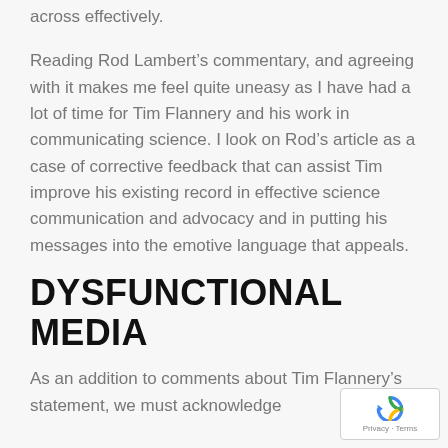across effectively.
Reading Rod Lambert's commentary, and agreeing with it makes me feel quite uneasy as I have had a lot of time for Tim Flannery and his work in communicating science. I look on Rod's article as a case of corrective feedback that can assist Tim improve his existing record in effective science communication and advocacy and in putting his messages into the emotive language that appeals.
DYSFUNCTIONAL MEDIA
As an addition to comments about Tim Flannery's statement, we must acknowledge